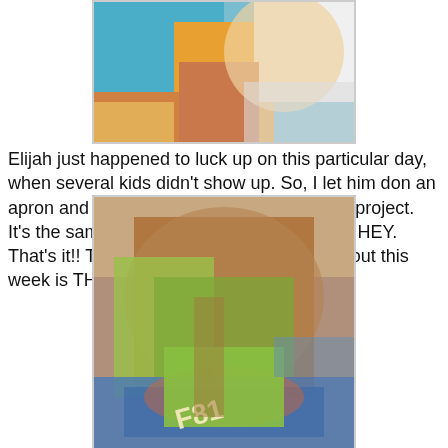[Figure (photo): Child wearing yellow apron/vest with colorful canvas art in background]
Elijah just happened to luck up on this particular day, when several kids didn't show up.  So, I let him don an apron and join the group for a canvas book project.  It's the same one we did at MoZart Retreat.  HEY.  That's it!!  The other subject I'm blogging about this week is THINKING!  Isnt' that ironic?!
[Figure (photo): Child wearing floral apron painting on a green canvas with a paintbrush]